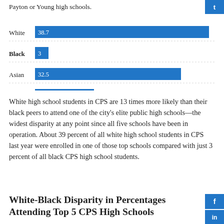Payton or Young high schools.
[Figure (bar-chart): Percentage attending top CPS high schools by race]
White high school students in CPS are 13 times more likely than their black peers to attend one of the city’s elite public high schools—the widest disparity at any point since all five schools have been in operation. About 39 percent of all white high school students in CPS last year were enrolled in one of those top schools compared with just 3 percent of all black CPS high school students.
White-Black Disparity in Percentages Attending Top 5 CPS High Schools